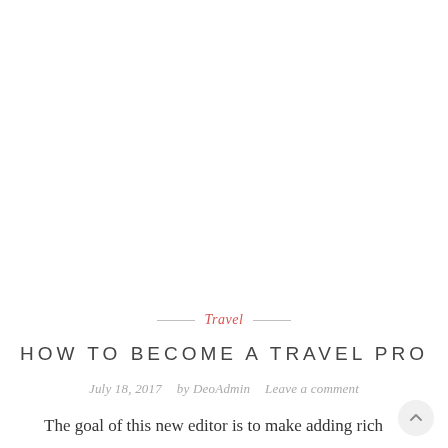Travel
HOW TO BECOME A TRAVEL PRO
July 18, 2017   by DeoAdmin   Leave a comment
The goal of this new editor is to make adding rich